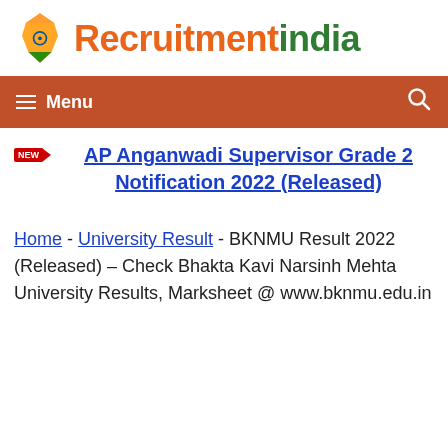[Figure (logo): RecruitmentIndia logo with India map icon in orange/green and text 'RecruitmentIndia' in orange and green]
Menu  [search icon]
AP Anganwadi Supervisor Grade 2 Notification 2022 (Released)
Home - University Result - BKNMU Result 2022 (Released) – Check Bhakta Kavi Narsinh Mehta University Results, Marksheet @ www.bknmu.edu.in